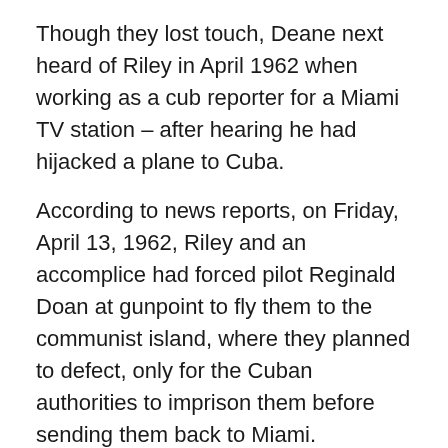Though they lost touch, Deane next heard of Riley in April 1962 when working as a cub reporter for a Miami TV station – after hearing he had hijacked a plane to Cuba.
According to news reports, on Friday, April 13, 1962, Riley and an accomplice had forced pilot Reginald Doan at gunpoint to fly them to the communist island, where they planned to defect, only for the Cuban authorities to imprison them before sending them back to Miami.
Deane says he was contacted by Riley prior to the Black Friday Skyjacking trial and during that meeting revealed that he was working for the CIA and had been sent to infiltrate Cuba as a spy.
‘The skyjacking was just a smokescreen conjured up by the CIA after the mission went wrong.